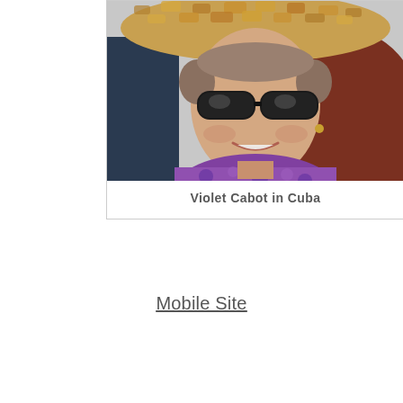[Figure (photo): Photograph of an elderly woman wearing large dark sunglasses and a wide-brimmed woven straw hat, smiling. She wears a purple floral garment. Background suggests an outdoor setting. Caption indicates this is Violet Cabot in Cuba.]
Violet Cabot in Cuba
Mobile Site